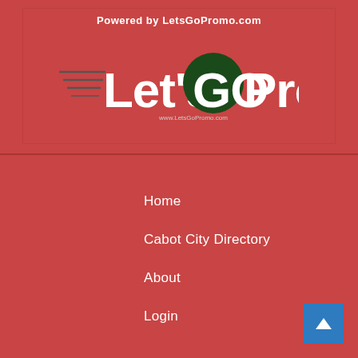Powered by LetsGoPromo.com
[Figure (logo): Let's GO Promo logo with speed lines on the left, bold white text 'Let's' and 'Promo', dark green circular 'GO' letters, and small URL www.LetsGoPromo.com below]
Home
Cabot City Directory
About
Login